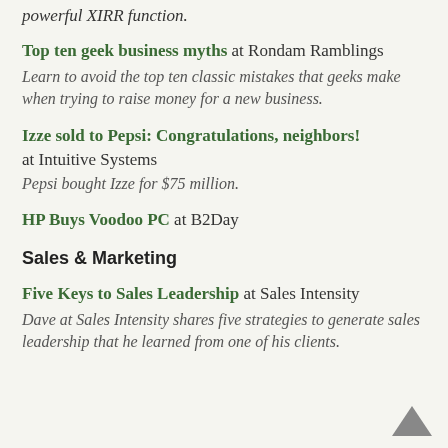powerful XIRR function.
Top ten geek business myths at Rondam Ramblings
Learn to avoid the top ten classic mistakes that geeks make when trying to raise money for a new business.
Izze sold to Pepsi: Congratulations, neighbors! at Intuitive Systems
Pepsi bought Izze for $75 million.
HP Buys Voodoo PC at B2Day
Sales & Marketing
Five Keys to Sales Leadership at Sales Intensity
Dave at Sales Intensity shares five strategies to generate sales leadership that he learned from one of his clients.